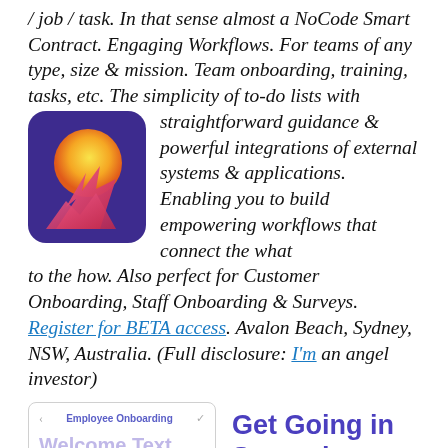/ job / task. In that sense almost a NoCode Smart Contract. Engaging Workflows. For teams of any type, size & mission. Team onboarding, training, tasks, etc. The simplicity of to-do lists with straightforward guidance & powerful integrations of external systems & applications. Enabling you to build empowering workflows that connect the what to the how. Also perfect for Customer Onboarding, Staff Onboarding & Surveys. Register for BETA access. Avalon Beach, Sydney, NSW, Australia. (Full disclosure: I'm an angel investor)
[Figure (logo): App logo: purple/indigo background square with rounded corners, featuring an orange/yellow gradient circle (sun) and a pink/red flame shape at the bottom]
[Figure (screenshot): Screenshot of app UI showing 'Employee Onboarding' header and 'Welcome Text' placeholder, plus text 'Get Going in Seconds.' on the right]